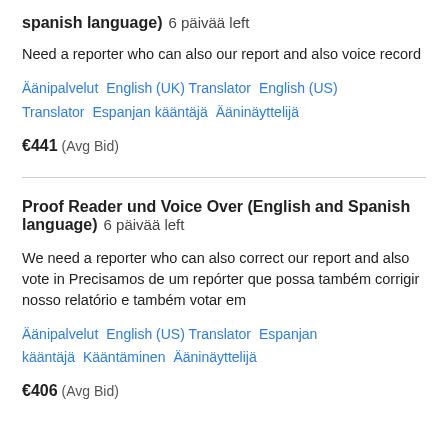spanish language)  6 päivää left
Need a reporter who can also our report and also voice record
Äänipalvelut   English (UK) Translator   English (US) Translator   Espanjan kääntäjä   Ääninäyttelijä
€441  (Avg Bid)
Proof Reader und Voice Over (English and Spanish language)  6 päivää left
We need a reporter who can also correct our report and also vote in Precisamos de um repórter que possa também corrigir nosso relatório e também votar em
Äänipalvelut   English (US) Translator   Espanjan kääntäjä   Kääntäminen   Ääninäyttelijä
€406  (Avg Bid)